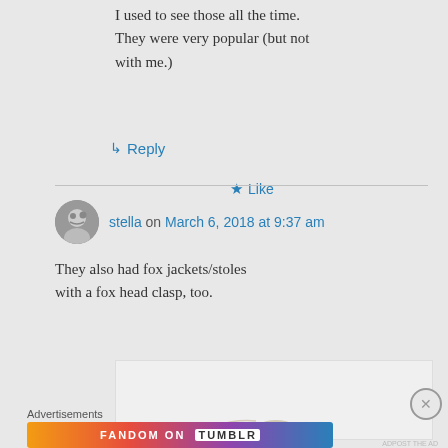I used to see those all the time. They were very popular (but not with me.)
Like
Reply
stella on March 6, 2018 at 9:37 am
They also had fox jackets/stoles with a fox head clasp, too.
[Figure (other): Partial image of an object, cropped at bottom]
Advertisements
[Figure (other): Fandom on Tumblr advertisement banner with colorful gradient background]